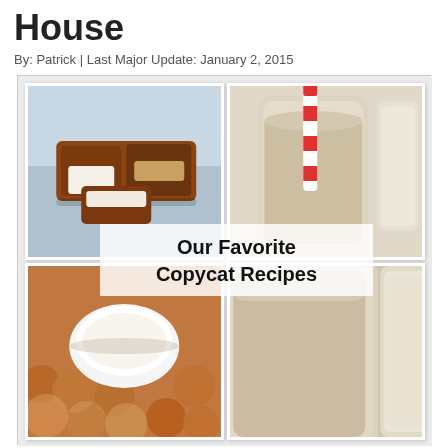House
By: Patrick | Last Major Update: January 2, 2015
[Figure (photo): Collage of four food photos (chocolate-covered candy bars, milkshake with red and white striped straw and jar of milk, cinnamon donut holes with dipping sauce, another milkshake/drink) with overlaid handwritten-style text reading 'Our Favorite Copycat Recipes']